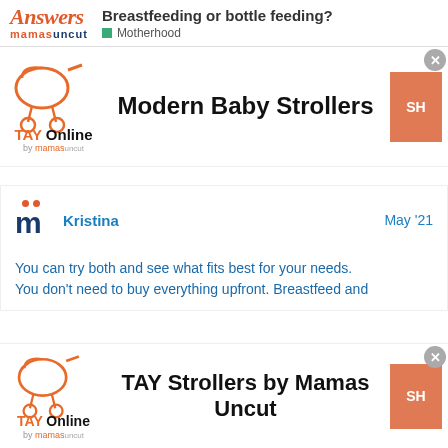Answers mamasuncut — Breastfeeding or bottle feeding? Motherhood
[Figure (infographic): TAY Online by mamas advertisement banner for Modern Baby Strollers with orange shop button]
[Figure (infographic): Mamas Uncut forum post by Kristina, May 21, with blue text: You can try both and see what fits best for your needs. You don't need to buy everything upfront. Breastfeed and]
[Figure (infographic): TAY Online by mamas advertisement banner for TAY Strollers by Mamas Uncut with orange shop button]